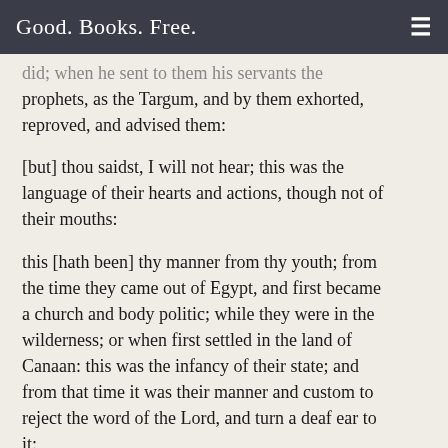Good. Books. Free.
did; when he sent to them his servants the prophets, as the Targum, and by them exhorted, reproved, and advised them:
[but] thou saidst, I will not hear; this was the language of their hearts and actions, though not of their mouths:
this [hath been] thy manner from thy youth; from the time they came out of Egypt, and first became a church and body politic; while they were in the wilderness; or when first settled in the land of Canaan: this was the infancy of their state; and from that time it was their manner and custom to reject the word of the Lord, and turn a deaf ear to it:
that thou obeyest not my voice; in his law, and by